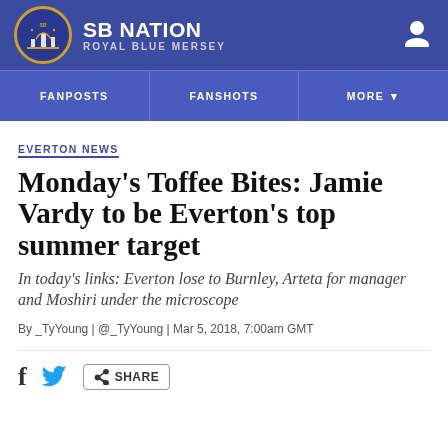SB NATION — ROYAL BLUE MERSEY
FANPOSTS | FANSHOTS | MORE
EVERTON NEWS
Monday's Toffee Bites: Jamie Vardy to be Everton's top summer target
In today's links: Everton lose to Burnley, Arteta for manager and Moshiri under the microscope
By _TyYoung | @_TyYoung | Mar 5, 2018, 7:00am GMT